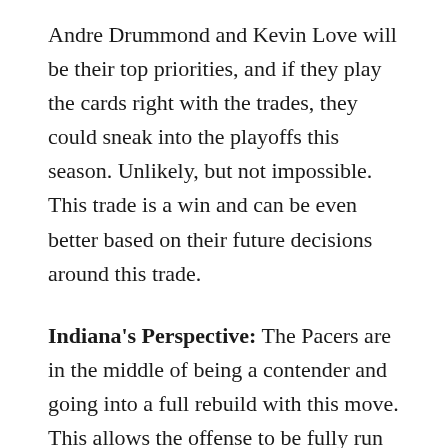Andre Drummond and Kevin Love will be their top priorities, and if they play the cards right with the trades, they could sneak into the playoffs this season. Unlikely, but not impossible. This trade is a win and can be even better based on their future decisions around this trade.
Indiana's Perspective: The Pacers are in the middle of being a contender and going into a full rebuild with this move. This allows the offense to be fully run